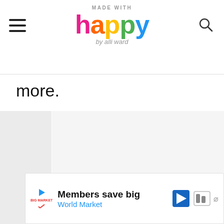MADE WITH happy by alli ward
more.
[Figure (screenshot): Main content image area, mostly blank/white with light gray sidebar on left]
[Figure (infographic): Pink heart favorite button circle]
[Figure (infographic): White share button circle]
[Figure (infographic): What's Next panel with thumbnail for Free Printable Christmas...]
Members save big
World Market